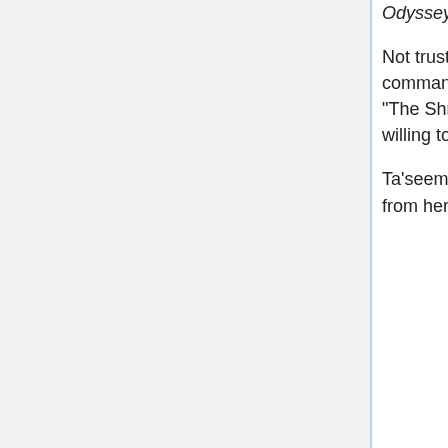Odyssey.
Not trusting anything that Adria/Ba'al said or offered, Carter proposed substituting a Tok'ra symbiote so that Adria could be used to command her army to leave the galaxy and to determine the outcome of the team's use of Merlin's anti-Ori weapon, the Sangreal (10.14 "The Shroud"). She contacted the Tok'ra and they sent Ta'seem and his surgical team, along with Zanuf, the Tok'ra symbiote who was willing to blend with Adria for this special, dangerous mission.
Ta'seem recognized Vala as Qetesh, but Vala told him that things had changed. Apparently, he wasn't the one who had removed Qetesh from her. He was aware, however, that Vala was the mother of the Orici.